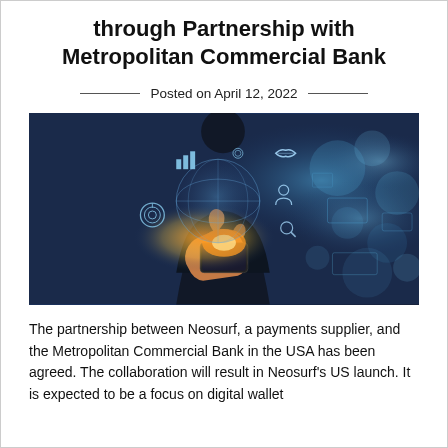through Partnership with Metropolitan Commercial Bank
Posted on April 12, 2022
[Figure (photo): Person holding a smartphone with a glowing digital globe and business/finance icons (bar chart, handshake, target, person, magnifier) floating above it, set against a dark blue bokeh background — representing digital financial technology and global partnerships.]
The partnership between Neosurf, a payments supplier, and the Metropolitan Commercial Bank in the USA has been agreed. The collaboration will result in Neosurf's US launch. It is expected to be a focus on digital wallet